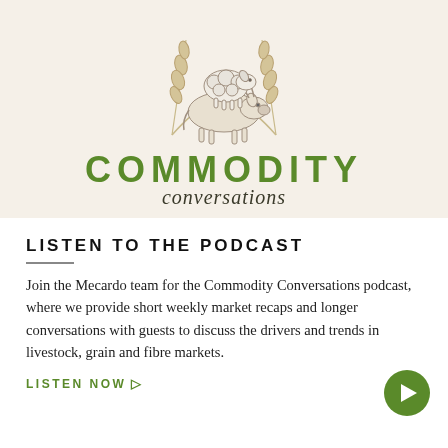[Figure (logo): Commodity Conversations logo featuring illustrated livestock (cow and sheep stacked) flanked by wheat stalks on a cream background, with 'COMMODITY' in bold green uppercase and 'conversations' in dark italic script below]
LISTEN TO THE PODCAST
Join the Mecardo team for the Commodity Conversations podcast, where we provide short weekly market recaps and longer conversations with guests to discuss the drivers and trends in livestock, grain and fibre markets.
LISTEN NOW ▷